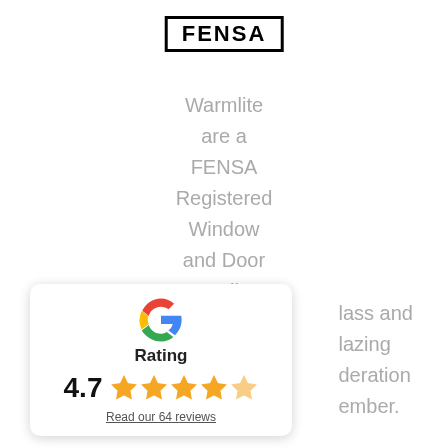[Figure (logo): FENSA logo — bold black text in a rectangular border]
Warmlite are a FENSA Registered Window and Door Installer.
Glass and Glazing Federation member.
[Figure (infographic): Google Rating card showing 4.7 stars with 5 gold stars and a link to read 64 reviews]